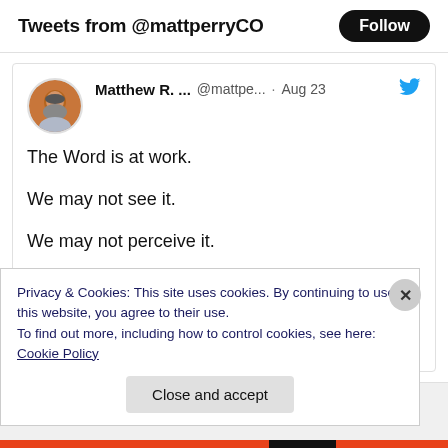Tweets from @mattperryCO
[Figure (photo): Twitter profile avatar of Matthew R., a man with beard, in circular crop]
Matthew R. ...  @mattpe...  · Aug 23
The Word is at work.

We may not see it.

We may not perceive it.

But any seed of the Word that a Christian may scatter is at work in God's way and God's timing.

Isaiah 55:10-11; Mark 4:26-29
Privacy & Cookies: This site uses cookies. By continuing to use this website, you agree to their use.
To find out more, including how to control cookies, see here: Cookie Policy
Close and accept